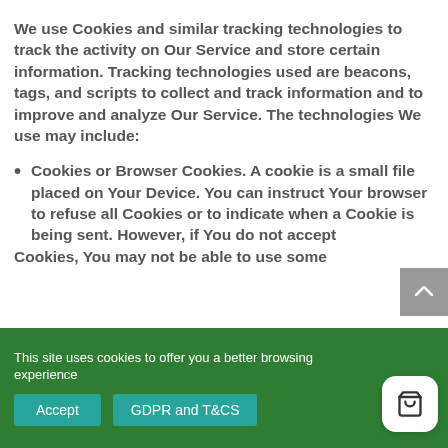We use Cookies and similar tracking technologies to track the activity on Our Service and store certain information. Tracking technologies used are beacons, tags, and scripts to collect and track information and to improve and analyze Our Service. The technologies We use may include:
Cookies or Browser Cookies. A cookie is a small file placed on Your Device. You can instruct Your browser to refuse all Cookies or to indicate when a Cookie is being sent. However, if You do not accept Cookies, You may not be able to use some
This site uses cookies to offer you a better browsing experience
Accept
GDPR and T&CS